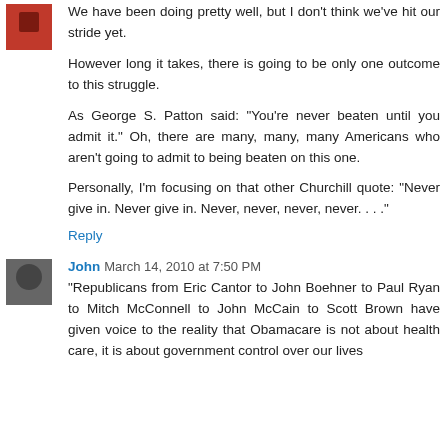We have been doing pretty well, but I don't think we've hit our stride yet.
However long it takes, there is going to be only one outcome to this struggle.
As George S. Patton said: "You're never beaten until you admit it." Oh, there are many, many, many Americans who aren't going to admit to being beaten on this one.
Personally, I'm focusing on that other Churchill quote: "Never give in. Never give in. Never, never, never, never. . . ."
Reply
John  March 14, 2010 at 7:50 PM
"Republicans from Eric Cantor to John Boehner to Paul Ryan to Mitch McConnell to John McCain to Scott Brown have given voice to the reality that Obamacare is not about health care, it is about government control over our lives